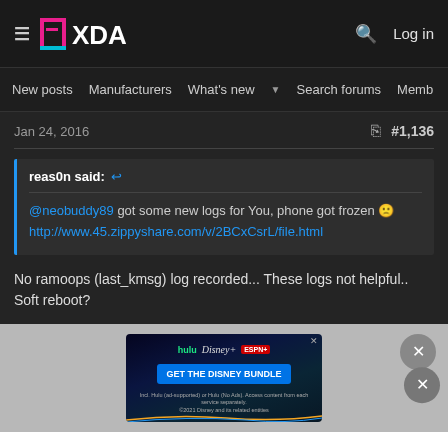XDA — New posts | Manufacturers | What's new | Search forums | Members
Jan 24, 2016  #1,136
reas0n said:
@neobuddy89 got some new logs for You, phone got frozen 🙁
http://www.45.zippyshare.com/v/2BCxCsrL/file.html
No ramoops (last_kmsg) log recorded... These logs not helpful..
Soft reboot?
[Figure (screenshot): Disney Bundle advertisement banner with Hulu, Disney+, and ESPN+ logos and a blue CTA button saying GET THE DISNEY BUNDLE]